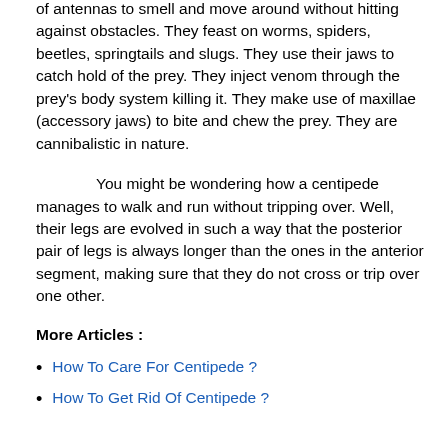blind. They make use of the antennae present on the oval shield for locomotion. They move around by sensing the ground and the objects around them. They love damp moist humid conditions and are often seen hiding beneath stones, rocks, leaves, etc. Any place where they feel secure and have moisture is considered an ideal centipede hangout.
Centipedes are night hunters. They make use of antennas to smell and move around without hitting against obstacles. They feast on worms, spiders, beetles, springtails and slugs. They use their jaws to catch hold of the prey. They inject venom through the prey's body system killing it. They make use of maxillae (accessory jaws) to bite and chew the prey. They are cannibalistic in nature.
You might be wondering how a centipede manages to walk and run without tripping over. Well, their legs are evolved in such a way that the posterior pair of legs is always longer than the ones in the anterior segment, making sure that they do not cross or trip over one other.
More Articles :
How To Care For Centipede ?
How To Get Rid Of Centipede ?